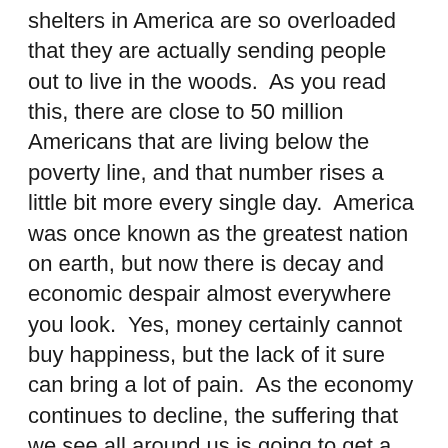shelters in America are so overloaded that they are actually sending people out to live in the woods.  As you read this, there are close to 50 million Americans that are living below the poverty line, and that number rises a little bit more every single day.  America was once known as the greatest nation on earth, but now there is decay and economic despair almost everywhere you look.  Yes, money certainly cannot buy happiness, but the lack of it sure can bring a lot of pain.  As the economy continues to decline, the suffering that we see all around us is going to get a lot worse, and that is a very frightening thing to think about.
The following is a half hour documentary produced by the BBC entitled “Poor America”.  Trust me, this is a must watch.  Your heart will